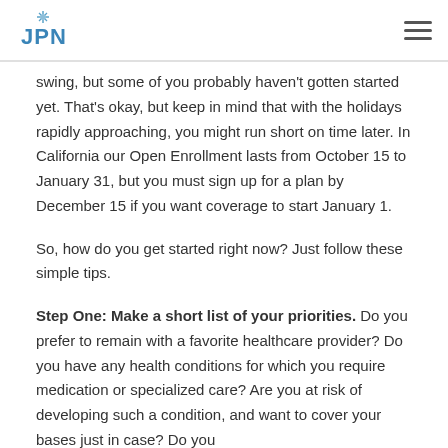JPN logo and navigation menu
swing, but some of you probably haven't gotten started yet. That's okay, but keep in mind that with the holidays rapidly approaching, you might run short on time later. In California our Open Enrollment lasts from October 15 to January 31, but you must sign up for a plan by December 15 if you want coverage to start January 1.
So, how do you get started right now? Just follow these simple tips.
Step One: Make a short list of your priorities. Do you prefer to remain with a favorite healthcare provider? Do you have any health conditions for which you require medication or specialized care? Are you at risk of developing such a condition, and want to cover your bases just in case? Do you